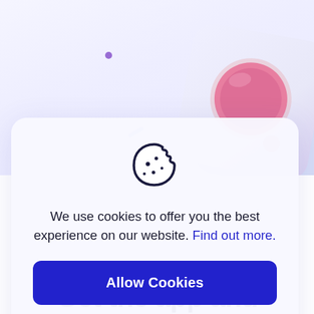[Figure (illustration): 3D illustration of a cookie/biscuit box with a pink circular cookie, light blue and white colors, on a light purple gradient background with decorative small dots and dashes]
[Figure (illustration): Cookie icon — circular cookie outline with bite taken out of top right, with small dots inside, dark navy color]
We use cookies to offer you the best experience on our website. Find out more.
Allow Cookies
Nope, thanks
Get the app and